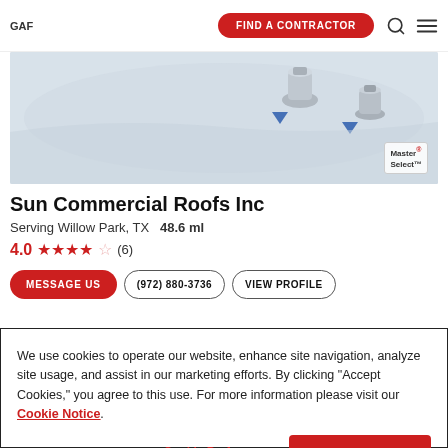GAF | FIND A CONTRACTOR
[Figure (photo): Commercial roofing image with metal roof vents/fixtures on a light-colored membrane roof, with a Master Select™ badge overlay]
Sun Commercial Roofs Inc
Serving Willow Park, TX  48.6 ml
4.0 ★★★★☆ (6)
MESSAGE US  (972) 880-3736  VIEW PROFILE
We use cookies to operate our website, enhance site navigation, analyze site usage, and assist in our marketing efforts. By clicking "Accept Cookies," you agree to this use. For more information please visit our Cookie Notice.
Cookie Preferences  Accept Cookies